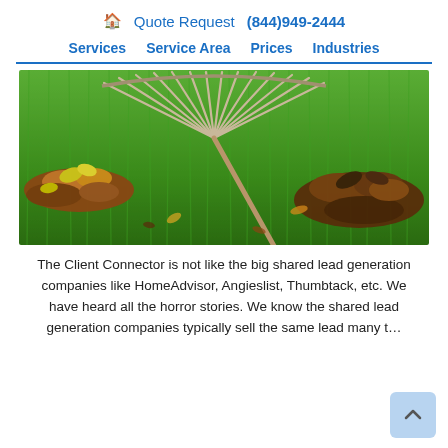🏠 Quote Request (844)949-2444
Services  Service Area  Prices  Industries
[Figure (photo): A fan rake raking autumn leaves on a green grass lawn, viewed from close to ground level.]
The Client Connector is not like the big shared lead generation companies like HomeAdvisor, Angieslist, Thumbtack, etc. We have heard all the horror stories. We know the shared lead generation companies typically sell the same lead many t...